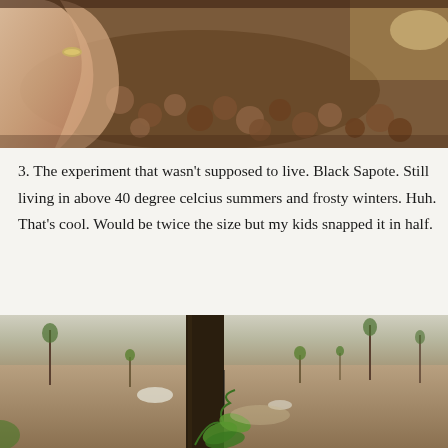[Figure (photo): Close-up photo of a hand with a ring holding or touching small round brown seeds/pebbles among rocks]
3. The experiment that wasn't supposed to live. Black Sapote. Still living in above 40 degree celcius summers and frosty winters. Huh. That's cool. Would be twice the size but my kids snapped it in half.
[Figure (photo): Outdoor garden photo showing small seedling plants in dry sandy/dirt ground with a dark tree trunk in the foreground and sparse young trees in the background]